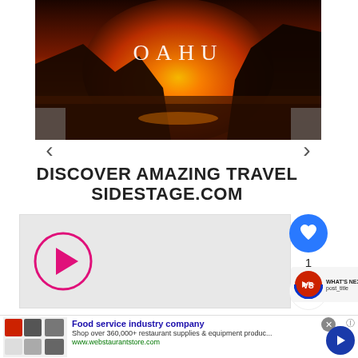[Figure (photo): Sunset landscape photo of Oahu coastline with rocky cliffs and ocean, with text overlay 'OAHU' in white letters]
DISCOVER AMAZING TRAVEL SIDESTAGE.COM
[Figure (screenshot): Video player with pink/magenta play button circle on gray background, with like button (heart icon, blue circle, count 1), share button, and 'WHAT'S NEXT' panel with post_title]
[Figure (screenshot): Advertisement banner: Food service industry company - Shop over 360,000+ restaurant supplies & equipment produc... www.webstaurantstore.com, with product images on left and blue arrow button on right]